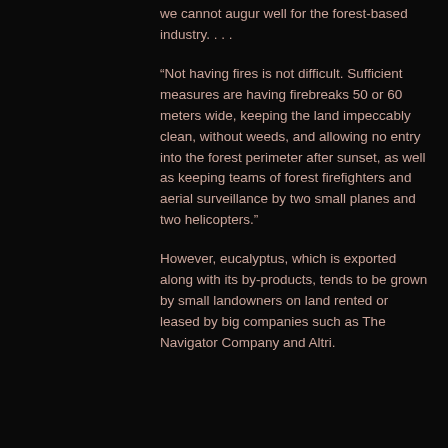we cannot augur well for the forest-based industry. . . .
“Not having fires is not difficult. Sufficient measures are having firebreaks 50 or 60 meters wide, keeping the land impeccably clean, without weeds, and allowing no entry into the forest perimeter after sunset, as well as keeping teams of forest firefighters and aerial surveillance by two small planes and two helicopters.”
However, eucalyptus, which is exported along with its by-products, tends to be grown by small landowners on land rented or leased by big companies such as The Navigator Company and Altri.